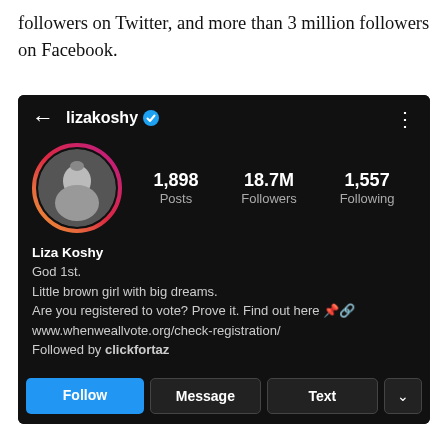followers on Twitter, and more than 3 million followers on Facebook.
[Figure (screenshot): Instagram profile screenshot of lizakoshy showing 1,898 Posts, 18.7M Followers, 1,557 Following, with bio: Liza Koshy, God 1st. Little brown girl with big dreams. Are you registered to vote? Prove it. Find out here www.whenweallvote.org/check-registration/ Followed by clickfortaz. Buttons: Follow, Message, Text, chevron.]